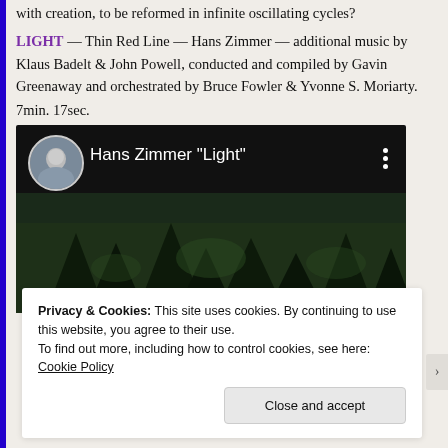with creation, to be reformed in infinite oscillating cycles?
LIGHT — Thin Red Line — Hans Zimmer — additional music by Klaus Badelt & John Powell, conducted and compiled by Gavin Greenaway and orchestrated by Bruce Fowler & Yvonne S. Moriarty.
7min. 17sec.
[Figure (screenshot): YouTube video thumbnail showing Hans Zimmer "Light" with a forest background scene, circular avatar of a person, and three-dot menu icon]
Privacy & Cookies: This site uses cookies. By continuing to use this website, you agree to their use.
To find out more, including how to control cookies, see here: Cookie Policy
Close and accept